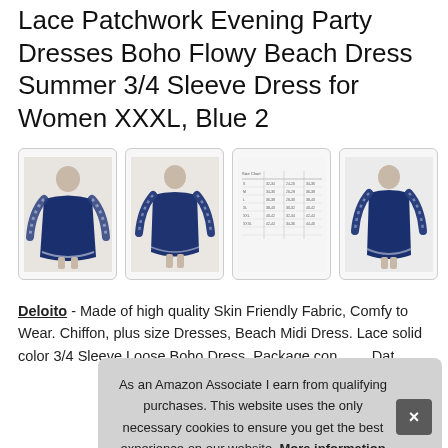Lace Patchwork Evening Party Dresses Boho Flowy Beach Dress Summer 3/4 Sleeve Dress for Women XXXL, Blue 2
[Figure (photo): Four product thumbnail images of a navy blue lace patchwork 3/4 sleeve dress shown from different angles including a size chart image]
Deloito - Made of high quality Skin Friendly Fabric, Comfy to Wear. Chiffon, plus size Dresses, Beach Midi Dress. Lace solid color 3/4 Sleeve Loose Boho Dress. Package con... Date...
As an Amazon Associate I earn from qualifying purchases. This website uses the only necessary cookies to ensure you get the best experience on our website. More information